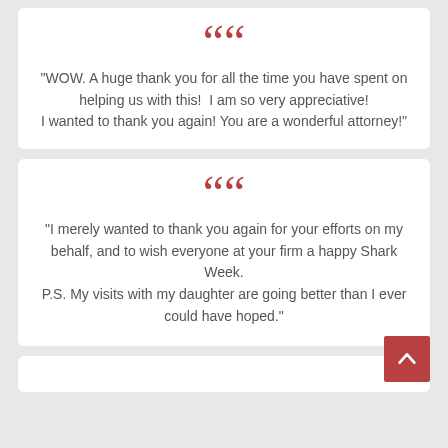"WOW. A huge thank you for all the time you have spent on helping us with this!  I am so very appreciative! I wanted to thank you again! You are a wonderful attorney!"
"I merely wanted to thank you again for your efforts on my behalf, and to wish everyone at your firm a happy Shark Week. P.S. My visits with my daughter are going better than I ever could have hoped."